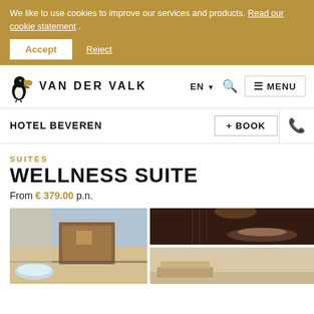We like to use cookies to improve our services and products. Read our cookie statement .
Accept | Reject
VAN DER VALK — EN | MENU
HOTEL BEVEREN
+ BOOK
SUITES
WELLNESS SUITE
From €379.00 p.n.
[Figure (photo): Outdoor sauna/spa terrace area with wooden sauna cabin, hot tub, and countryside view]
[Figure (photo): Indoor spa with rain shower, person relaxing on stone bench in dark luxurious setting]
[Figure (photo): Partial view of hotel room interior]